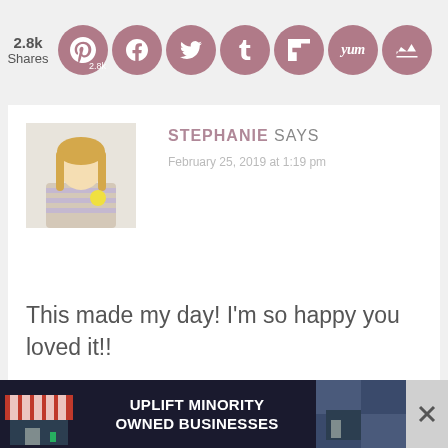[Figure (infographic): Social media share bar with circular icons: share count 2.8k, Pinterest 2.8k, Facebook, Twitter, Tumblr, Flipboard, Yummly, crown icon]
[Figure (photo): Avatar photo of Stephanie, a young woman with long blonde hair holding a lemon, wearing a striped top]
STEPHANIE SAYS
February 25, 2019 at 1:19 pm
This made my day! I'm so happy you loved it!!
Reply
[Figure (infographic): Advertisement banner: UPLIFT MINORITY OWNED BUSINESSES with store graphics on dark blue background]